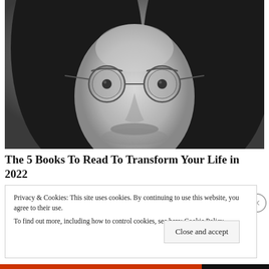[Figure (photo): Black and white close-up portrait of a young man with long hair, beard, and round wire-frame glasses, looking directly at the camera]
The 5 Books To Read To Transform Your Life in 2022
Privacy & Cookies: This site uses cookies. By continuing to use this website, you agree to their use.
To find out more, including how to control cookies, see here: Cookie Policy
Close and accept